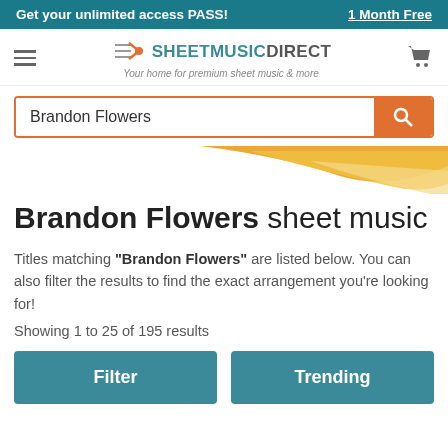Get your unlimited access PASS! 1 Month Free
[Figure (logo): Sheet Music Direct logo with musical note and tagline: Your home for premium sheet music & more]
Brandon Flowers (search input)
[Figure (illustration): Decorative orange and yellow wave graphic in upper right corner]
Brandon Flowers sheet music
Titles matching "Brandon Flowers" are listed below. You can also filter the results to find the exact arrangement you're looking for!
Showing 1 to 25 of 195 results
Filter
Trending